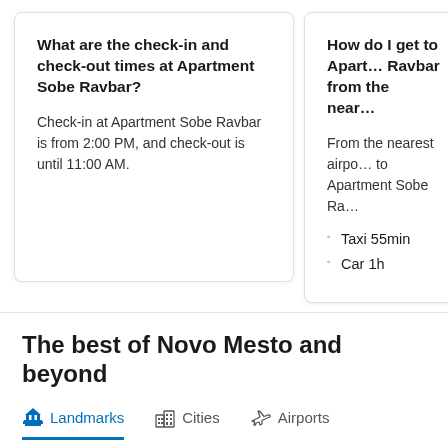What are the check-in and check-out times at Apartment Sobe Ravbar?
Check-in at Apartment Sobe Ravbar is from 2:00 PM, and check-out is until 11:00 AM.
How do I get to Apartment Sobe Ravbar from the nearest airport?
From the nearest airport to Apartment Sobe Ravbar:
Taxi 55min
Car 1h
The best of Novo Mesto and beyond
Landmarks  Cities  Airports